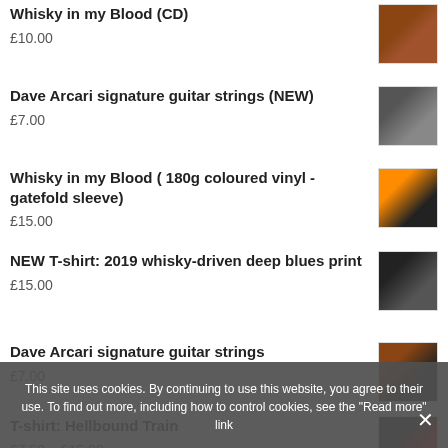Whisky in my Blood (CD)
£10.00
Dave Arcari signature guitar strings (NEW)
£7.00
Whisky in my Blood ( 180g coloured vinyl - gatefold sleeve)
£15.00
NEW T-shirt: 2019 whisky-driven deep blues print
£15.00
Dave Arcari signature guitar strings
£7.00
This site uses cookies. By continuing to use this website, you agree to their use. To find out more, including how to control cookies, see the "Read more" link
T-shirt: Hellbound Train
£7.50 – £15.00